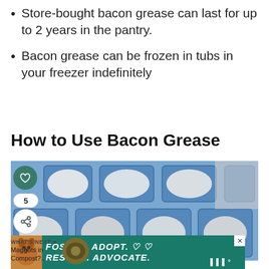Store-bought bacon grease can last for up to 2 years in the pantry.
Bacon grease can be frozen in tubs in your freezer indefinitely
How to Use Bacon Grease
[Figure (photo): Photo of bacon grease frozen in a blue silicone ice cube tray, showing white/creamy solidified grease in multiple square compartments. Social media UI overlays include a green heart button, share button, and count badge showing 5. A 'WHAT'S NEXT' card shows Maggots in Compost?... with a thumbnail image.]
[Figure (other): Advertisement banner with teal/green background showing a dog image on the left and bold italic white text reading FOSTER. ADOPT. RESCUE. ADVOCATE. with heart icons. A close (X) button appears in the top right corner.]